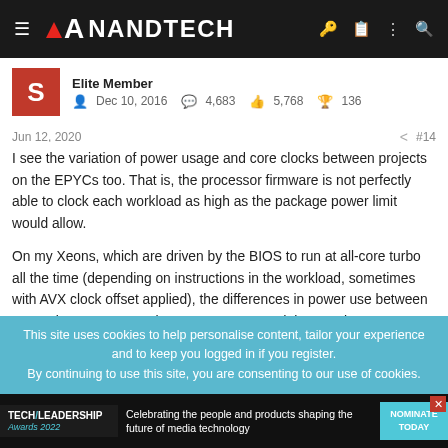AnandTech
Elite Member
Dec 10, 2016   4,683   5,768   136
Jun 12, 2020   #14
I see the variation of power usage and core clocks between projects on the EPYCs too. That is, the processor firmware is not perfectly able to clock each workload as high as the package power limit would allow.

On my Xeons, which are driven by the BIOS to run at all-core turbo all the time (depending on instructions in the workload, sometimes with AVX clock offset applied), the differences in power use between DC projects are somewhat more pronounced than on the EPYCs. I have
This site uses cookies to help personalise content, tailor your experience and to keep you logged in if you register.
By continuing to use this site, you are consenting to our use of cookies.
[Figure (screenshot): Tech Leadership Awards 2022 advertisement banner: Celebrating the people and products shaping the future of media technology. NOMINATE TODAY button.]